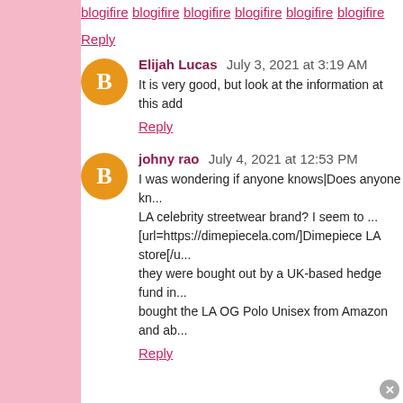blogifire
blogifire
blogifire
blogifire
blogifire
blogifire
Reply
Elijah Lucas  July 3, 2021 at 3:19 AM
It is very good, but look at the information at this add
Reply
johny rao  July 4, 2021 at 12:53 PM
I was wondering if anyone knows|Does anyone kn... LA celebrity streetwear brand? I seem to ... [url=https://dimepiecela.com/]Dimepiece LA store[/u... they were bought out by a UK-based hedge fund in... bought the LA OG Polo Unisex from Amazon and ab...
Reply